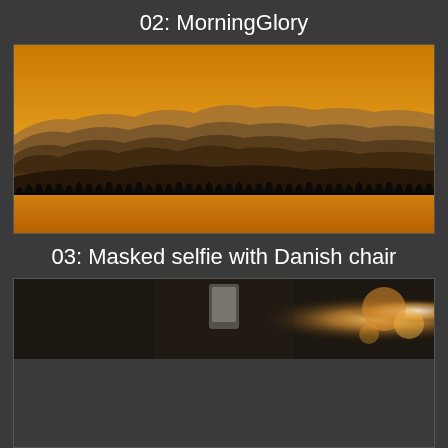02: MorningGlory
[Figure (photo): Landscape photograph of mountain silhouettes with an orange/amber golden sky at sunrise or sunset, with a dark forest of pine trees in the foreground and layered mountain ridges receding into the background.]
03: Masked selfie with Danish chair
[Figure (photo): Blurred indoor photograph showing a person in a dimly lit room, with bright bokeh light sources visible on the right side. The image is partially cut off at the bottom of the page.]